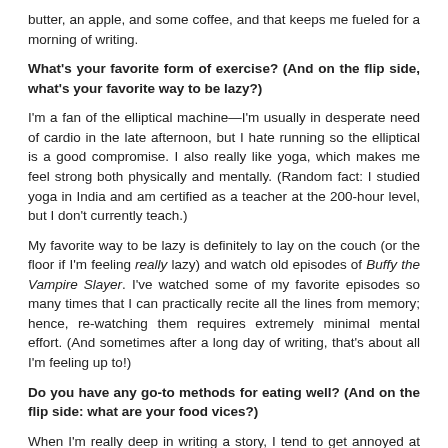butter, an apple, and some coffee, and that keeps me fueled for a morning of writing.
What's your favorite form of exercise? (And on the flip side, what's your favorite way to be lazy?)
I'm a fan of the elliptical machine—I'm usually in desperate need of cardio in the late afternoon, but I hate running so the elliptical is a good compromise. I also really like yoga, which makes me feel strong both physically and mentally. (Random fact: I studied yoga in India and am certified as a teacher at the 200-hour level, but I don't currently teach.)
My favorite way to be lazy is definitely to lay on the couch (or the floor if I'm feeling really lazy) and watch old episodes of Buffy the Vampire Slayer. I've watched some of my favorite episodes so many times that I can practically recite all the lines from memory; hence, re-watching them requires extremely minimal mental effort. (And sometimes after a long day of writing, that's about all I'm feeling up to!)
Do you have any go-to methods for eating well? (And on the flip side: what are your food vices?)
When I'm really deep in writing a story, I tend to get annoyed at having to